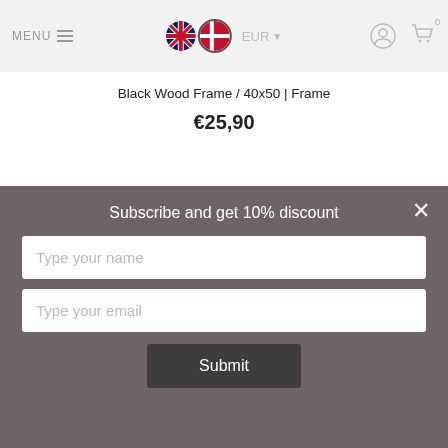MENU | UK flag | DK flag | EUR | user icon | cart icon
Black Wood Frame / 40x50 | Frame
€25,90
Subscribe and get 10% discount
Type your name
Type your email
Submit